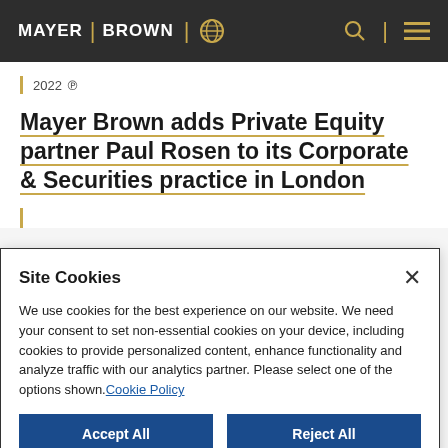MAYER | BROWN
2022
Mayer Brown adds Private Equity partner Paul Rosen to its Corporate & Securities practice in London
Site Cookies
We use cookies for the best experience on our website. We need your consent to set non-essential cookies on your device, including cookies to provide personalized content, enhance functionality and analyze traffic with our analytics partner. Please select one of the options shown. Cookie Policy
Accept All
Reject All